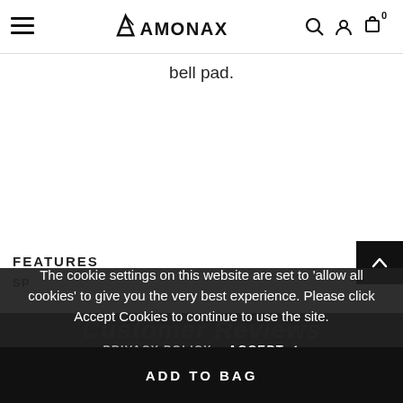AMONAX navigation bar with hamburger menu, logo, search, account, and cart (0)
bell pad.
FEATURES
SP...
The cookie settings on this website are set to 'allow all cookies' to give you the very best experience. Please click Accept Cookies to continue to use the site.
PRIVACY POLICY   ACCEPT ✓
Customer Reviews
ADD TO BAG